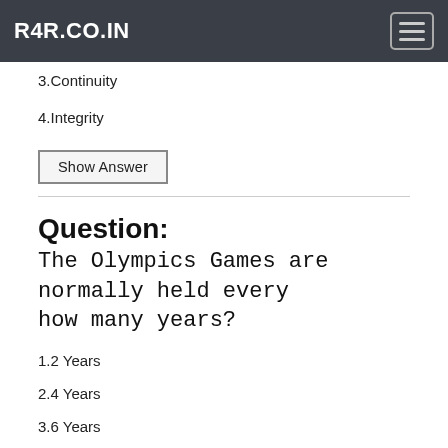R4R.CO.IN
3.Continuity
4.Integrity
Show Answer
Question: The Olympics Games are normally held every how many years?
1.2 Years
2.4 Years
3.6 Years